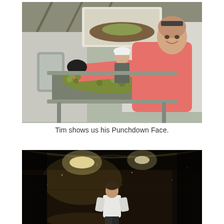[Figure (photo): Woman in pink long-sleeve shirt wearing black gloves sorting green grapes on a conveyor belt/sorting table in a winery. Another worker in a white cap is visible in the background near a large bin of grapes. Industrial winery equipment visible in the background.]
Tim shows us his Punchdown Face.
[Figure (photo): Dark interior of a winery/warehouse with a person in a white shirt standing in the middle ground. Bright overhead lights illuminate the space. The scene is dimly lit with a dramatic, moody atmosphere.]